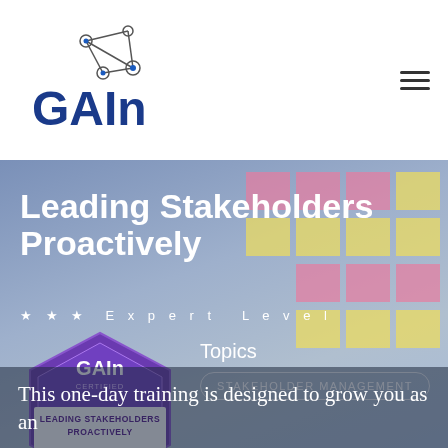[Figure (logo): GAIn network logo — blue bold text 'GAIn' with connected nodes and lines forming a network/graph shape above and to the right of the text]
[Figure (illustration): Hamburger menu icon — three horizontal dark lines stacked]
Leading Stakeholders Proactively
★ ★ ★  E x p e r t   L e v e l
Topics
STAKEHOLDER MANAGEMENT
[Figure (other): GAIn Certified hexagonal badge in purple/violet. Text reads: GAIn CERTIFIED / LEADING STAKEHOLDERS PROACTIVELY / LEADERSHIP & CHANGE / 2301]
This one-day training is designed to grow you as an